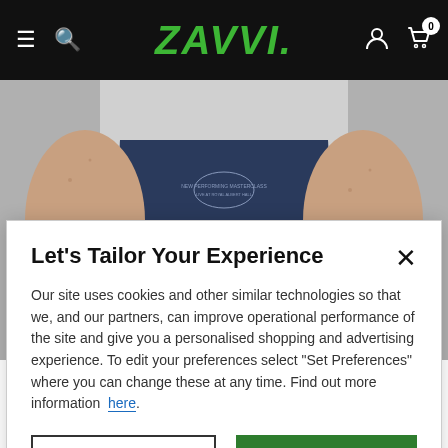Zavvi
[Figure (photo): Person wearing a navy blue sleeveless t-shirt with a small graphic design on the chest, arms at sides, cropped to show torso only, on a light grey background.]
Let's Tailor Your Experience
Our site uses cookies and other similar technologies so that we, and our partners, can improve operational performance of the site and give you a personalised shopping and advertising experience. To edit your preferences select "Set Preferences" where you can change these at any time. Find out more information here.